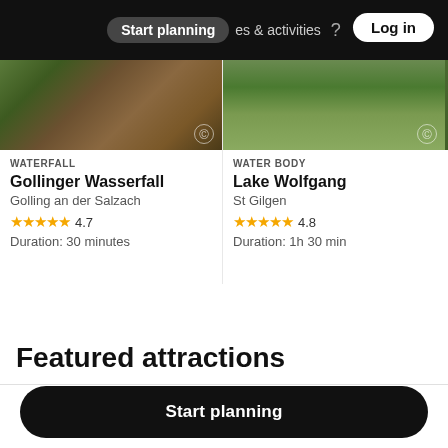Start planning   places & activities   Log in
[Figure (screenshot): Gollinger Wasserfall attraction card with waterfall image]
WATERFALL
Gollinger Wasserfall
Golling an der Salzach
★★★★★ 4.7
Duration: 30 minutes
[Figure (screenshot): Lake Wolfgang attraction card with lake image]
WATER BODY
Lake Wolfgang
St Gilgen
★★★★★ 4.8
Duration: 1h 30 min
Featured attractions
Start planning